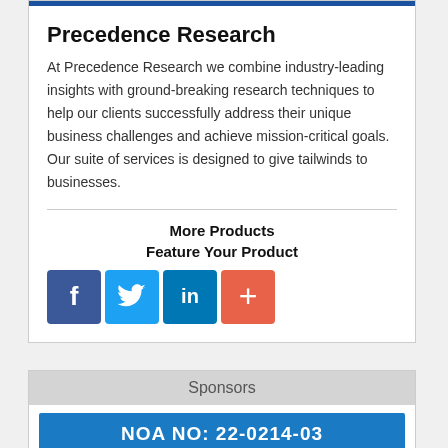Precedence Research
At Precedence Research we combine industry-leading insights with ground-breaking research techniques to help our clients successfully address their unique business challenges and achieve mission-critical goals. Our suite of services is designed to give tailwinds to businesses.
More Products
Feature Your Product
[Figure (logo): Social media icons: Facebook (blue), Twitter (blue), LinkedIn (blue), Plus/share (orange-red)]
Sponsors
NOA NO: 22-0214-03